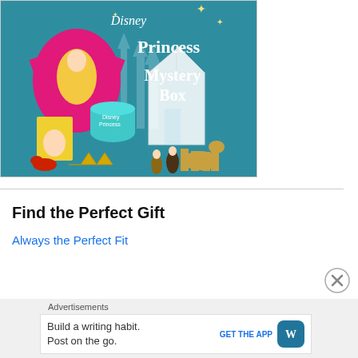[Figure (illustration): Disney Princess Mystery Box advertisement showing a pink Belle t-shirt, a teal Disney Princess playdoh container, figurines of Belle, Gaston, Beast horse, and other Beauty and the Beast characters, a golden crown, red shoes, and a white castle in the background. Text reads 'Disney Princess Mystery Box' in white stylized lettering on a teal background.]
Find the Perfect Gift
Always the Perfect Fit
Advertisements
Build a writing habit. Post on the go.
GET THE APP